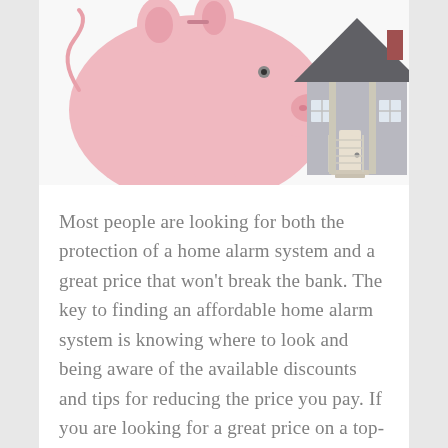[Figure (photo): A pink ceramic piggy bank on the left and a small model house on the right, against a white background, representing home security savings.]
Most people are looking for both the protection of a home alarm system and a great price that won't break the bank. The key to finding an affordable home alarm system is knowing where to look and being aware of the available discounts and tips for reducing the price you pay. If you are looking for a great price on a top-rated alarm system, here are